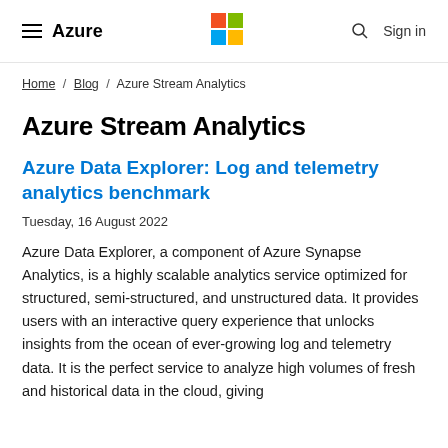≡ Azure | Microsoft logo | 🔍 Sign in
Home / Blog / Azure Stream Analytics
Azure Stream Analytics
Azure Data Explorer: Log and telemetry analytics benchmark
Tuesday, 16 August 2022
Azure Data Explorer, a component of Azure Synapse Analytics, is a highly scalable analytics service optimized for structured, semi-structured, and unstructured data. It provides users with an interactive query experience that unlocks insights from the ocean of ever-growing log and telemetry data. It is the perfect service to analyze high volumes of fresh and historical data in the cloud, giving...